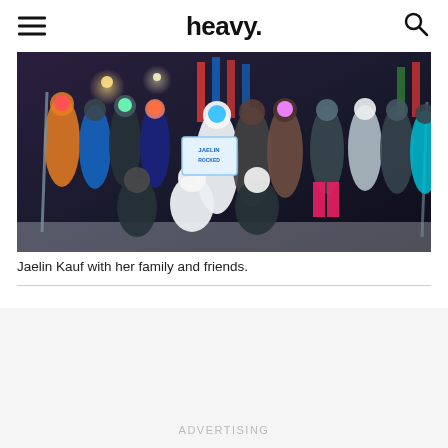heavy.
[Figure (photo): Group photo of Jaelin Kauf with her family and friends at a nighttime outdoor ski event, crowd of people in winter clothing holding signs]
Jaelin Kauf with her family and friends.
ADVERTISING